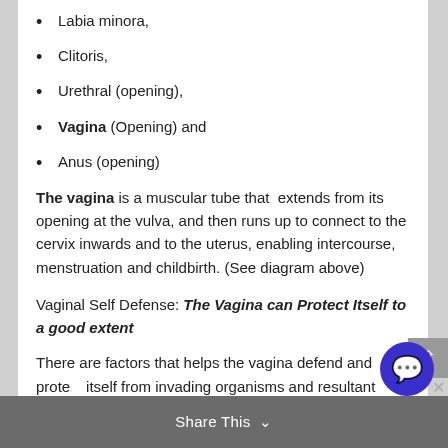Labia minora,
Clitoris,
Urethral (opening),
Vagina (Opening) and
Anus (opening)
The vagina is a muscular tube that extends from its opening at the vulva, and then runs up to connect to the cervix inwards and to the uterus, enabling intercourse, menstruation and childbirth. (See diagram above)
Vaginal Self Defense: The Vagina can Protect Itself to a good extent
There are factors that helps the vagina defend and protect itself from invading organisms and resultant infections, these factors include